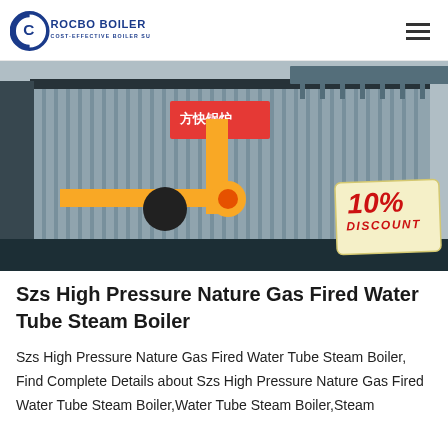ROCBO BOILER — COST-EFFECTIVE BOILER SUPPLIER
[Figure (photo): Industrial SZS water tube steam boiler with corrugated metallic cladding, yellow gas piping, and black structural base in a factory setting. A '10% DISCOUNT' badge is overlaid on the bottom-right corner of the image.]
Szs High Pressure Nature Gas Fired Water Tube Steam Boiler
Szs High Pressure Nature Gas Fired Water Tube Steam Boiler, Find Complete Details about Szs High Pressure Nature Gas Fired Water Tube Steam Boiler,Water Tube Steam Boiler,Steam